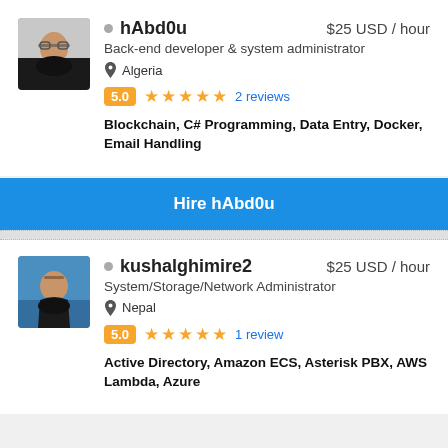hAbd0u — $25 USD / hour — Back-end developer & system administrator — Algeria — 5.0 — 2 reviews
Blockchain, C# Programming, Data Entry, Docker, Email Handling
Hire hAbd0u
kushalghimire2 — $25 USD / hour — System/Storage/Network Administrator — Nepal — 5.0 — 1 review
Active Directory, Amazon ECS, Asterisk PBX, AWS Lambda, Azure